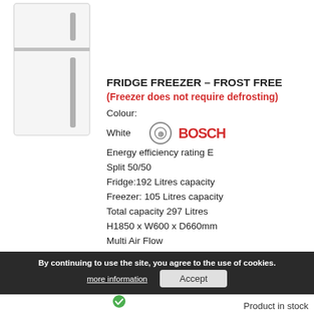[Figure (photo): White fridge freezer product image on white background]
FRIDGE FREEZER – FROST FREE
(Freezer does not require defrosting)
Colour:
White
Energy efficiency rating E
Split 50/50
Fridge:192 Litres capacity
Freezer: 105 Litres capacity
Total capacity 297 Litres
H1850 x W600 x D660mm
Multi Air Flow
Super freeze
Two year manufacturer's guarantee
By continuing to use the site, you agree to the use of cookies. more information Accept
Product in stock